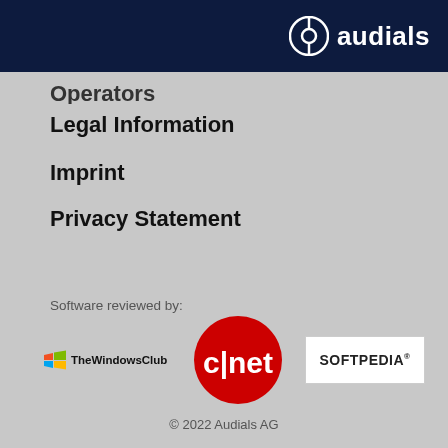audials
Operators
Legal Information
Imprint
Privacy Statement
Software reviewed by:
[Figure (logo): TheWindowsClub logo with colorful Windows flag icon]
[Figure (logo): CNET logo - white text on red circle]
[Figure (logo): SOFTPEDIA logo in dark text on white rectangle with registered trademark]
© 2022 Audials AG